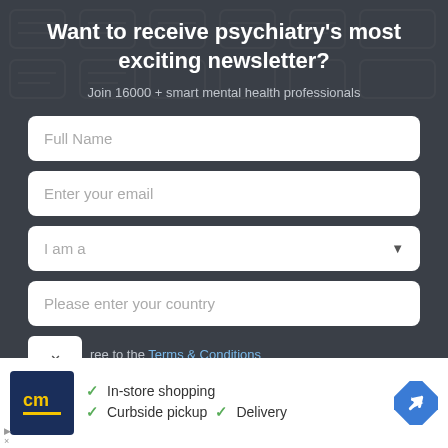Want to receive psychiatry's most exciting newsletter?
Join 16000 + smart mental health professionals
Full Name
Enter your email
I am a
Please enter your country
ree to the Terms & Conditions
[Figure (infographic): Advertisement banner with cm logo, checkmarks for In-store shopping, Curbside pickup, Delivery, and a blue navigation arrow icon]